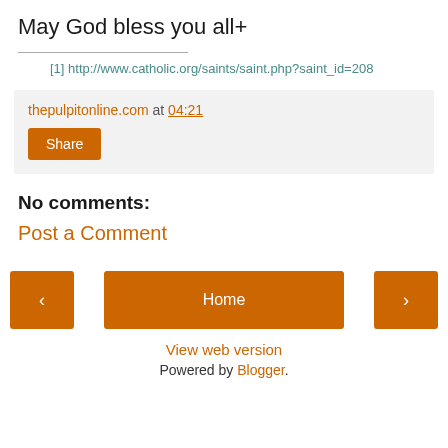May God bless you all+
[1] http://www.catholic.org/saints/saint.php?saint_id=208
thepulpitonline.com at 04:21 Share
No comments:
Post a Comment
< Home > View web version Powered by Blogger.